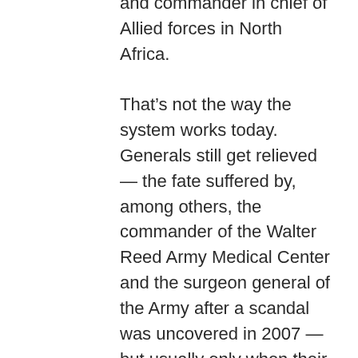and commander in chief of Allied forces in North Africa.
That’s not the way the system works today. Generals still get relieved — the fate suffered by, among others, the commander of the Walter Reed Army Medical Center and the surgeon general of the Army after a scandal was uncovered in 2007 — but usually only when their political masters intervene. Seldom are Army officers cashiered anymore by their military superiors and especially not for mere failure to perform at the highest level in wartime. Normally it takes a sexual or other scandal to bring down a senior officer. “As matters stand now,” Paul Yingling, then a lieutenant colonel, wrote in a celebrated 2007 article, “a